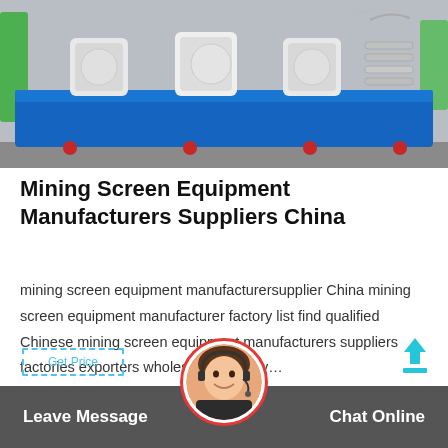[Figure (photo): Industrial mining screen equipment on a blue metal frame with white components and springs, shown in a factory/warehouse setting]
Mining Screen Equipment Manufacturers Suppliers China
mining screen equipment manufacturersupplier China mining screen equipment manufacturer factory list find qualified Chinese mining screen equipment manufacturers suppliers factories exporters wholesalers quickly…
Leave Message   Chat Online